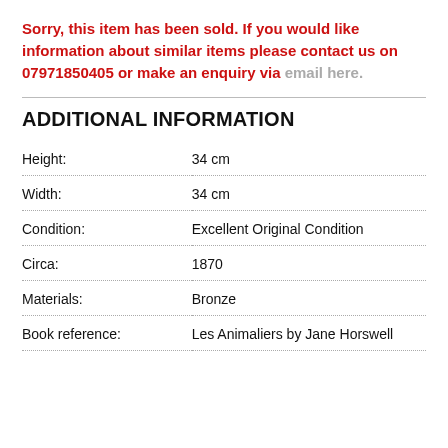Sorry, this item has been sold. If you would like information about similar items please contact us on 07971850405 or make an enquiry via email here.
ADDITIONAL INFORMATION
| Height: | 34 cm |
| Width: | 34 cm |
| Condition: | Excellent Original Condition |
| Circa: | 1870 |
| Materials: | Bronze |
| Book reference: | Les Animaliers by Jane Horswell |